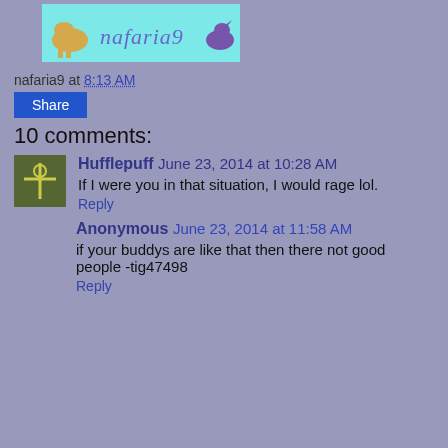[Figure (illustration): Banner image with cartoon characters and the text 'nafaria9' in stylized lettering on a light blue background]
nafaria9 at 8:13 AM
Share
10 comments:
[Figure (illustration): User avatar for Hufflepuff, green background with a stick figure/game character]
Hufflepuff  June 23, 2014 at 10:28 AM
If I were you in that situation, I would rage lol.
Reply
Anonymous  June 23, 2014 at 11:58 AM
if your buddys are like that then there not good people -tig47498
Reply